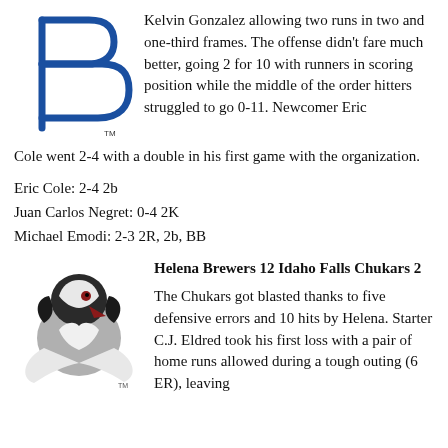[Figure (logo): Blue 'B' letter logo with TM mark, Biloxi Shuckers or similar minor league baseball team logo]
Kelvin Gonzalez allowing two runs in two and one-third frames. The offense didn't fare much better, going 2 for 10 with runners in scoring position while the middle of the order hitters struggled to go 0-11. Newcomer Eric Cole went 2-4 with a double in his first game with the organization.
Eric Cole: 2-4 2b
Juan Carlos Negret: 0-4 2K
Michael Emodi: 2-3 2R, 2b, BB
[Figure (logo): Helena Brewers bird logo - a grey and black bird with white feathers and dark red beak]
Helena Brewers 12 Idaho Falls Chukars 2
The Chukars got blasted thanks to five defensive errors and 10 hits by Helena. Starter C.J. Eldred took his first loss with a pair of home runs allowed during a tough outing (6 ER), leaving